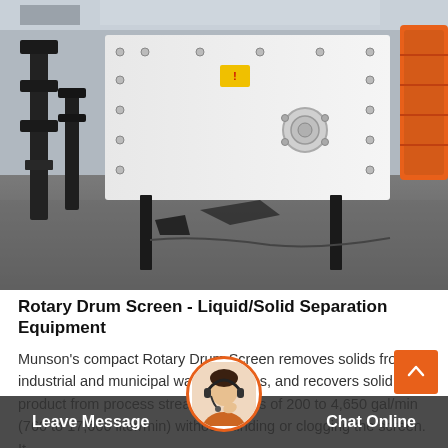[Figure (photo): Industrial rotary drum screen equipment lying on a factory floor, showing a large white rectangular metal frame with bolts and a circular orange roller/drum end visible at the right side. Black metal support structures and various machine parts visible in the background of a large warehouse/factory.]
Rotary Drum Screen - Liquid/Solid Separation Equipment
Munson's compact Rotary Drum Screen removes solids from industrial and municipal waste streams, and recovers solid product from process streams, at rates of 200 to 4,650 gal/min (760 to 17,600 liter/min) without blinding or clogging the screen. It...
Leave Message  Chat Online